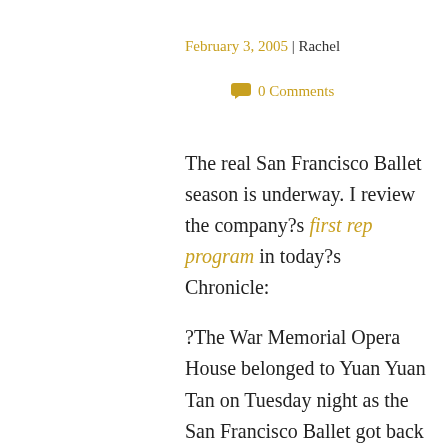February 3, 2005 | Rachel
0 Comments
The real San Francisco Ballet season is underway. I review the company?s first rep program in today?s Chronicle:
?The War Memorial Opera House belonged to Yuan Yuan Tan on Tuesday night as the San Francisco Ballet got back to business with its first program of the 2005 season. Great dancing from an inarguably great company followed the Chinese-born ballerina's star turn in Artistic Director Helgi Tomasson's “7 for Eight.” But nothing eclipsed the image of her delicate arms wavering like water under gentle moonlight. Not even the ostensibly big